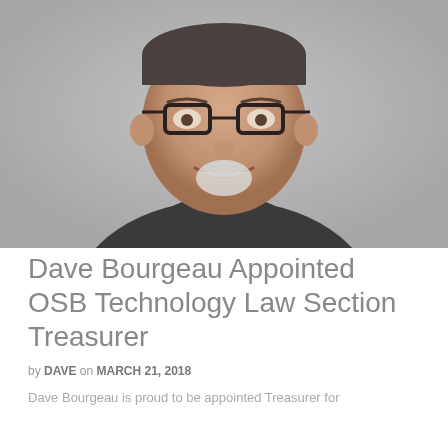[Figure (photo): Headshot of a smiling middle-aged man with glasses, a goatee/white beard, wearing a dark zip-up sweater over a plaid shirt, against a neutral gray background.]
Dave Bourgeau Appointed OSB Technology Law Section Treasurer
by DAVE on MARCH 21, 2018
Dave Bourgeau is proud to be appointed Treasurer for